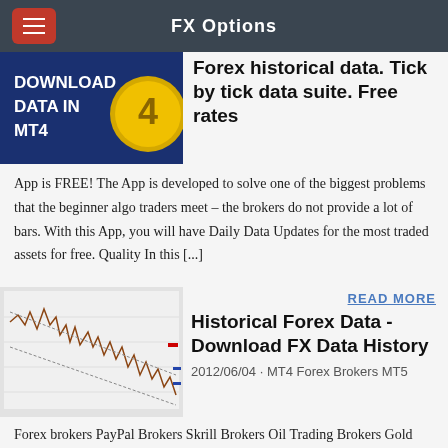FX Options
[Figure (screenshot): Blue banner image with text DOWNLOAD DATA IN MT4 and a gold coin graphic with number 4]
Forex historical data. Tick by tick data suite. Free rates
App is FREE! The App is developed to solve one of the biggest problems that the beginner algo traders meet – the brokers do not provide a lot of bars. With this App, you will have Daily Data Updates for the most traded assets for free. Quality In this [...]
READ MORE
[Figure (screenshot): Forex candlestick/line chart showing price movement with downward trend channel]
Historical Forex Data - Download FX Data History
2012/06/04 · MT4 Forex Brokers MT5
Forex brokers PayPal Brokers Skrill Brokers Oil Trading Brokers Gold Trading Brokers Web Browser Platform Brokers with CFD Trading ECN Brokers Bitcoin FX Brokers PAMM Forex Brokers With Cont Accounts With High Leverage Cryptocurrency Brokers. Forex